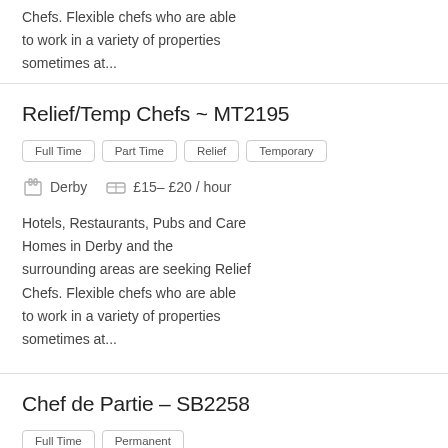Chefs. Flexible chefs who are able to work in a variety of properties sometimes at...
Relief/Temp Chefs ~ MT2195
Full Time
Part Time
Relief
Temporary
Derby   £15– £20 / hour
Hotels, Restaurants, Pubs and Care Homes in Derby and the surrounding areas are seeking Relief Chefs. Flexible chefs who are able to work in a variety of properties sometimes at...
Chef de Partie – SB2258
Full Time
Permanent